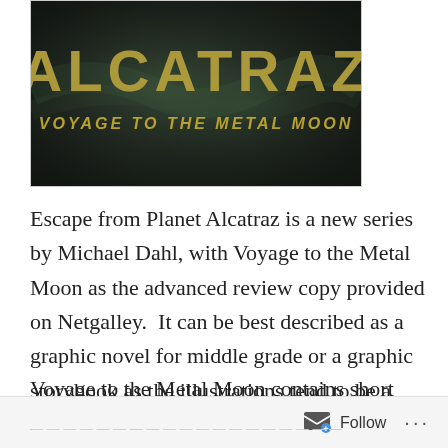[Figure (illustration): Book cover for 'Alcatraz: Voyage to the Metal Moon' — dark background with smoke/fog effect in green-gray tones, large distressed gold/yellow text reading 'ALCATRAZ' and subtitle 'VOYAGE TO THE METAL MOON' in smaller italic gold lettering.]
Escape from Planet Alcatraz is a new series by Michael Dahl, with Voyage to the Metal Moon as the advanced review copy provided on Netgalley.  It can be best described as a graphic novel for middle grade or a graphic storybook as the illustrations tend to be a large focus of the book and so detailed-oriented they almost tell a story in themselves.
Voyage to the Metal Moon contains short chapters that initially made it feel like it leaned more toward the
Follow ···